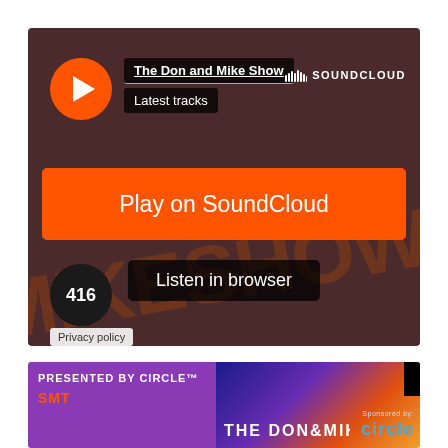[Figure (screenshot): SoundCloud embedded player for 'The Don and Mike Show' showing a dark brownish-red background with watermark text, orange play button circle, title and subtitle pills, SoundCloud logo, a large orange 'Play on SoundCloud' button, a dark 'Listen in browser' button, a track count badge showing 416, and a Privacy policy label.]
[Figure (screenshot): Bottom promotional banner with purple left section reading 'PRESENTED BY CIRCLE™' and 'SMT' logo, and a colorful right section showing 'THE DON AND MIKE SHOW' text with a Circle sponsor logo.]